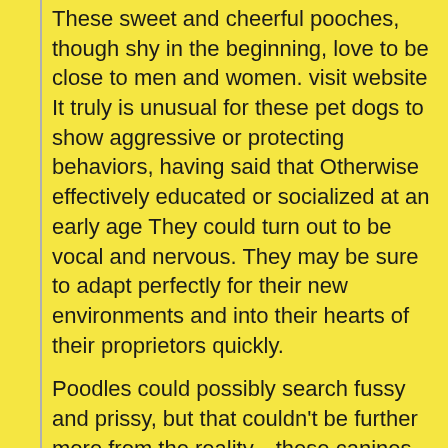These sweet and cheerful pooches, though shy in the beginning, love to be close to men and women. visit website It truly is unusual for these pet dogs to show aggressive or protecting behaviors, having said that Otherwise effectively educated or socialized at an early age They could turn out to be vocal and nervous. They may be sure to adapt perfectly for their new environments and into their hearts of their proprietors quickly.
Poodles could possibly search fussy and prissy, but that couldn't be further more from the reality—these canines are genuine entertainers and like to have fun.
Puppies arrive wormed, vaccinated and microchipped. They have been often vet checked and are balanced. Puppies feature a pupp
Persona: Hi my name is Nina and I am looking for my without end residence! Remember to e-mail if you desire to to order me
Dear Eddie,Just to Permit you to are aware that our